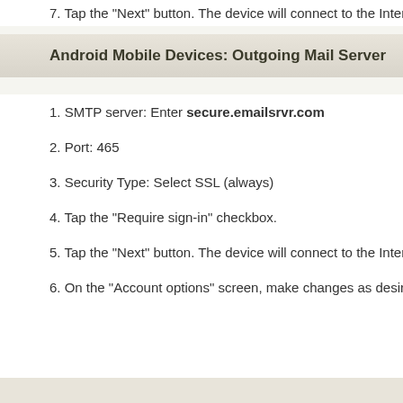7. Tap the "Next" button. The device will connect to the Internet and
Android Mobile Devices: Outgoing Mail Server
1. SMTP server: Enter secure.emailsrvr.com
2. Port: 465
3. Security Type: Select SSL (always)
4. Tap the "Require sign-in" checkbox.
5. Tap the "Next" button. The device will connect to the Internet and
6. On the "Account options" screen, make changes as desired.